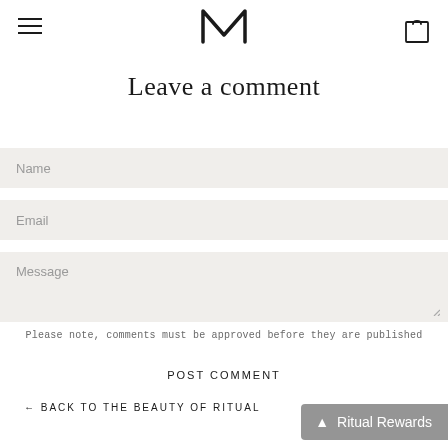M (logo with hamburger menu and bag icon)
Leave a comment
Name
Email
Message
Please note, comments must be approved before they are published
POST COMMENT
← BACK TO THE BEAUTY OF RITUAL
Ritual Rewards